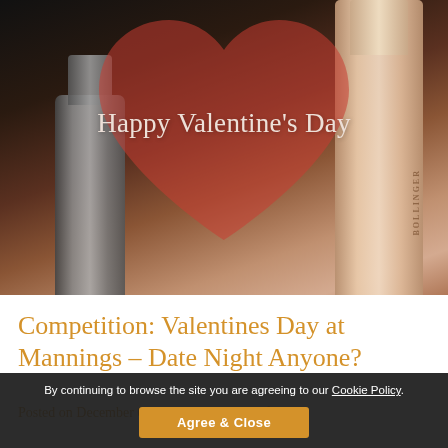[Figure (photo): Photo of Bollinger champagne bottles in a dark ice bucket with a semi-transparent red heart overlay and 'Happy Valentine's Day' text on top of the image]
Competition: Valentines Day at Mannings – Date Night Anyone?
Posted on December 04 2015 by Kate Mansfield
By continuing to browse the site you are agreeing to our Cookie Policy. Agree & Close